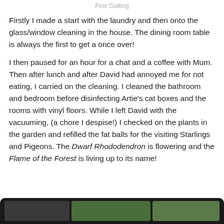First Guilting
Firstly I made a start with the laundry and then onto the glass/window cleaning in the house. The dining room table is always the first to get a once over!
I then paused for an hour for a chat and a coffee with Mum. Then after lunch and after David had annoyed me for not eating, I carried on the cleaning. I cleaned the bathroom and bedroom before disinfecting Artie’s cat boxes and the rooms with vinyl floors. While I left David with the vacuuming, (a chore I despise!) I checked on the plants in the garden and refilled the fat balls for the visiting Starlings and Pigeons. The Dwarf Rhododendron is flowering and the Flame of the Forest is living up to its name!
[Figure (photo): Dark-bordered photo strip at the bottom of the page showing garden/plant photographs]